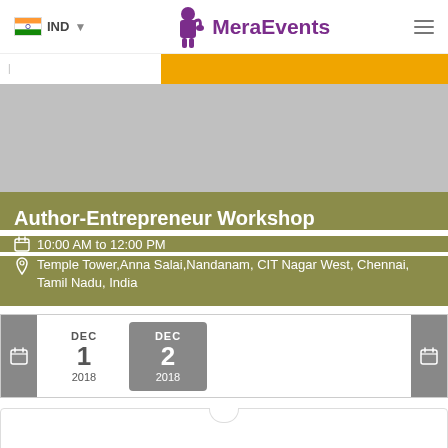IND  MeraEvents
[Figure (screenshot): Orange banner with breadcrumb navigation area]
[Figure (photo): Event cover image area (grey placeholder)]
Author-Entrepreneur Workshop
10:00 AM to 12:00 PM
Temple Tower,Anna Salai,Nandanam, CIT Nagar West, Chennai, Tamil Nadu, India
DEC 1 2018  DEC 2 2018
[Figure (screenshot): Bottom ticket/booking section with tab notch]